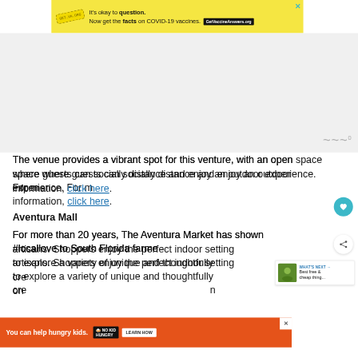[Figure (other): Yellow advertisement banner: 'It's okay to question. Now get the facts on COVID-19 vaccines. GetVaccineAnswers.org' with a stamped icon and close X button]
[Figure (other): Grey empty area below ad banner with waveform/audio icon watermark at bottom right]
The venue provides a vibrant spot for this venture, with an open space where guests can socially distance and enjoy an outdoor experience. For more information, click here.
Aventura Mall
For more than 20 years, The Aventura Market has shown #locallove to South Florida farmers and artisans. Shoppers enjoy the perfect indoor setting to explore a variety of unique and thoughtfully curated products — from fresh local produce to natural and...
[Figure (other): WHAT'S NEXT panel with photo thumbnail: 'Best free & cheap thing...']
[Figure (other): Bottom orange advertisement: 'You can help hungry kids. NO KID HUNGRY LEARN HOW' with close X button]